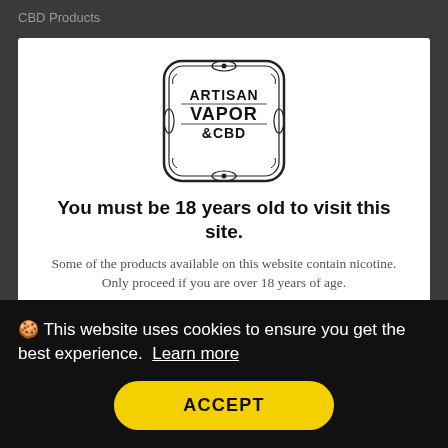CBD Products
[Figure (logo): Artisan Vapor & CBD ornate shield logo with decorative border]
You must be 18 years old to visit this site.
Some of the products available on this website contain nicotine. Only proceed if you are over 18 years of age.
Over 18 year
🍪 This website uses cookies to ensure you get the best experience.  Learn more
ACCEPT